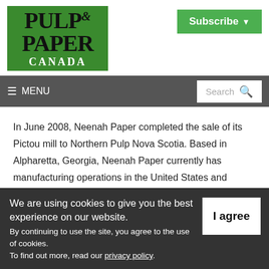[Figure (logo): Pulp & Paper Canada logo on green background]
[Figure (other): Subscribe button with green background and dropdown arrow]
≡ MENU    Search 🔍
In June 2008, Neenah Paper completed the sale of its Pictou mill to Northern Pulp Nova Scotia. Based in Alpharetta, Georgia, Neenah Paper currently has manufacturing operations in the United States and Germany.
We are using cookies to give you the best experience on our website. By continuing to use the site, you agree to the use of cookies. To find out more, read our privacy policy.